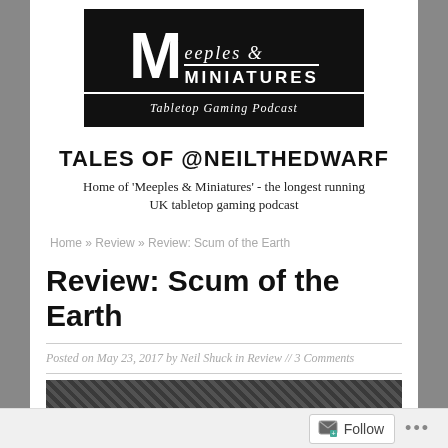[Figure (logo): Meeples & Miniatures - Tabletop Gaming Podcast logo, black background with white text and large stylized M]
TALES OF @NEILTHEDWARF
Home of 'Meeples & Miniatures' - the longest running UK tabletop gaming podcast
Home » Review » Review: Scum of the Earth
Review: Scum of the Earth
Posted on May 23, 2017 by Neil Shuck in Review // 3 Comments
[Figure (photo): Partial view of a black and white article image at the bottom of the page]